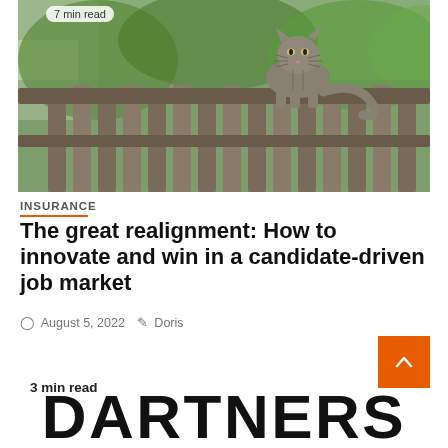[Figure (photo): A tabby cat sitting on a weathered wooden fence with green foliage in the background. A '7 min read' badge appears in the top-left corner of the image.]
INSURANCE
The great realignment: How to innovate and win in a candidate-driven job market
August 5, 2022  Doris
3 min read
DARTNERS